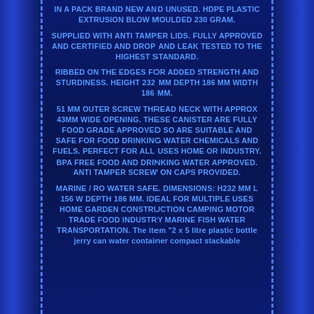IN A PACK BRAND NEW AND UNUSED. HDPE PLASTIC EXTRUSION BLOW MOULDED 230 GRAM.
SUPPLIED WITH ANTI TAMPER LIDS. FULLY APPROVED AND CERTIFIED AND DROP AND LEAK TESTED TO THE HIGHEST STANDARD.
RIBBED ON THE EDGES FOR ADDED STRENGTH AND STURDINESS. HEIGHT 232 MM DEPTH 186 MM WIDTH 186 MM.
51 MM OUTER SCREW THREAD NECK WITH APPROX 43MM WIDE OPENING. THESE CANISTER ARE FULLY FOOD GRADE APPROVED SO ARE SUITABLE AND SAFE FOR FOOD DRINKING WATER CHEMICALS AND FUELS. PERFECT FOR ALL USES HOME OR INDUSTRY. BPA FREE FOOD AND DRINKING WATER APPROVED. ANTI TAMPER SCREW ON CAPS PROVIDED.
MARINE / RO WATER SAFE. DIMENSIONS: H232 MM L 156 W DEPTH 186 MM. IDEAL FOR MULTIPLE USES HOME GARDEN CONSTRUCTION CAMPING MOTOR TRADE FOOD INDUSTRY MARINE FISH WATER TRANSPORTATION. The item "2 x 5 litre plastic bottle jerry can water container compact stackable